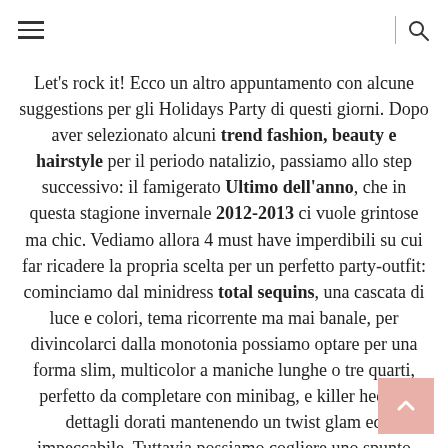[hamburger menu] | [search icon]
Let's rock it! Ecco un altro appuntamento con alcune suggestions per gli Holidays Party di questi giorni. Dopo aver selezionato alcuni trend fashion, beauty e hairstyle per il periodo natalizio, passiamo allo step successivo: il famigerato Ultimo dell'anno, che in questa stagione invernale 2012-2013 ci vuole grintose ma chic. Vediamo allora 4 must have imperdibili su cui far ricadere la propria scelta per un perfetto party-outfit: cominciamo dal minidress total sequins, una cascata di luce e colori, tema ricorrente ma mai banale, per divincolarci dalla monotonia possiamo optare per una forma slim, multicolor a maniche lunghe o tre quarti, perfetto da completare con minibag, e killer heels a dettagli dorati mantenendo un twist glam ed impeccabile. Tuttavia possiamo cogliere uno spunto divertente sostituendo il classico tacco con biker boots in stile grunge che sdrammatizzano ad hoc